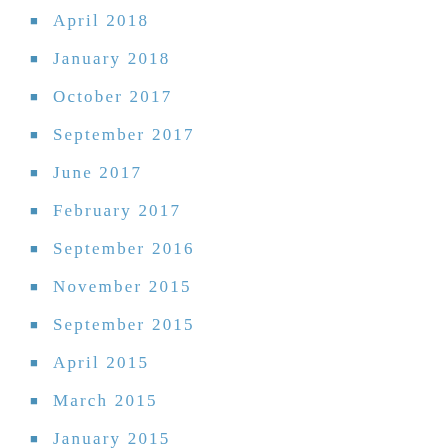April 2018
January 2018
October 2017
September 2017
June 2017
February 2017
September 2016
November 2015
September 2015
April 2015
March 2015
January 2015
December 2014
November 2014
October 2014
September 2014
August 2014
July 2014
May 2014
April 2014
March 2014
January 2014
December 2013
November 2013
October 2013